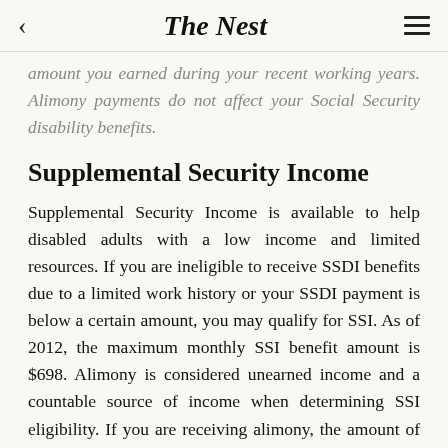The Nest
amount you earned during your recent working years. Alimony payments do not affect your Social Security disability benefits.
Supplemental Security Income
Supplemental Security Income is available to help disabled adults with a low income and limited resources. If you are ineligible to receive SSDI benefits due to a limited work history or your SSDI payment is below a certain amount, you may qualify for SSI. As of 2012, the maximum monthly SSI benefit amount is $698. Alimony is considered unearned income and a countable source of income when determining SSI eligibility. If you are receiving alimony, the amount of your SSI benefits may be reduced by the amount of your alimony payment